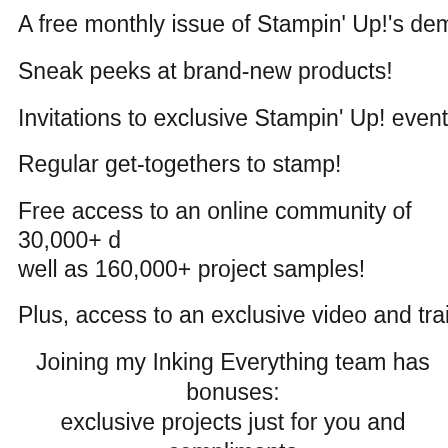A free monthly issue of Stampin' Up!'s demonstr
Sneak peeks at brand-new products!
Invitations to exclusive Stampin' Up! events!
Regular get-togethers to stamp!
Free access to an online community of 30,000+ d well as 160,000+ project samples!
Plus, access to an exclusive video and training fo
Joining my Inking Everything team has bonuses: exclusive projects just for you and complimenta new 12 Days of C